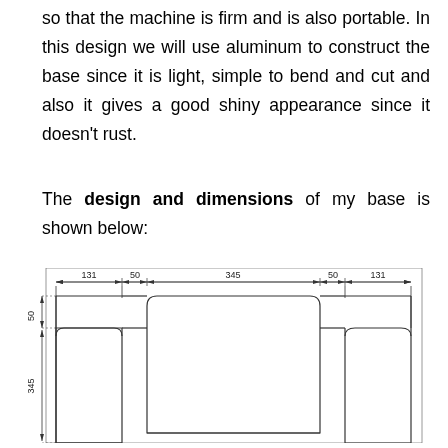so that the machine is firm and is also portable. In this design we will use aluminum to construct the base since it is light, simple to bend and cut and also it gives a good shiny appearance since it doesn't rust.
The design and dimensions of my base is shown below:
[Figure (engineering-diagram): Engineering dimensioned drawing of a base plate showing top view with rounded rectangular cutouts. Dimensions labeled: 131, 50, 345, 50, 131 across the top (horizontal), and 50 and 345 on the left side (vertical). The shape shows a flat rectangular base with rounded corner tabs protruding downward on the left and right sides, and a large rounded rectangle in the center.]